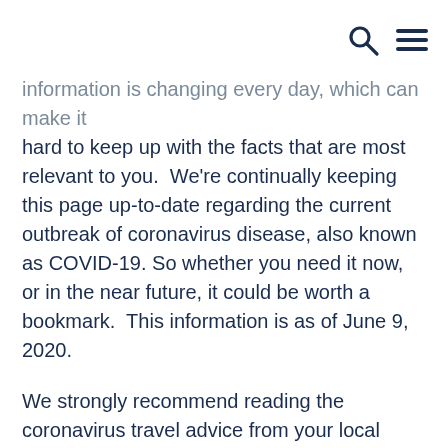[search icon] [menu icon]
information is changing every day, which can make it hard to keep up with the facts that are most relevant to you.  We're continually keeping this page up-to-date regarding the current outbreak of coronavirus disease, also known as COVID-19. So whether you need it now, or in the near future, it could be worth a bookmark.  This information is as of June 9, 2020.
We strongly recommend reading the coronavirus travel advice from your local authorities and governments — such as the Centers for Disease Control and Prevention (CDC) and the US Department of State — as well as the guidance from